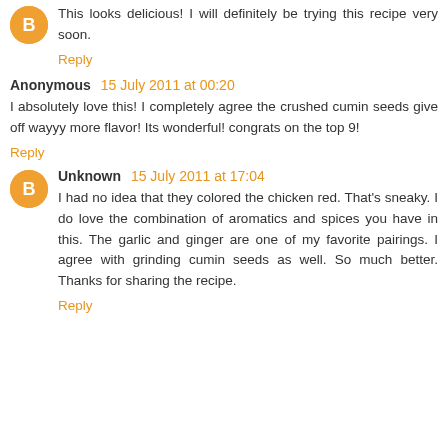This looks delicious! I will definitely be trying this recipe very soon.
Reply
Anonymous 15 July 2011 at 00:20
I absolutely love this! I completely agree the crushed cumin seeds give off wayyy more flavor! Its wonderful! congrats on the top 9!
Reply
Unknown 15 July 2011 at 17:04
I had no idea that they colored the chicken red. That's sneaky. I do love the combination of aromatics and spices you have in this. The garlic and ginger are one of my favorite pairings. I agree with grinding cumin seeds as well. So much better. Thanks for sharing the recipe.
Reply